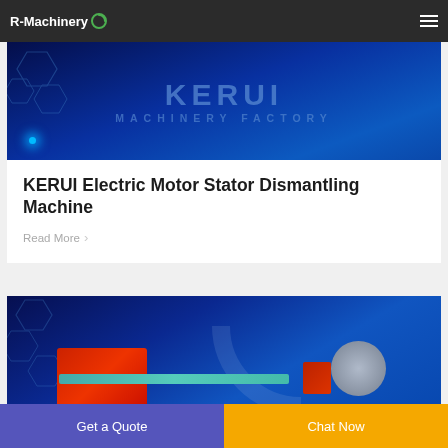R-Machinery
[Figure (photo): KERUI Machinery Factory banner with blue hexagonal background and glowing text overlay reading 'KERUI MACHINERY FACTORY']
KERUI Electric Motor Stator Dismantling Machine
Read More >
[Figure (photo): Industrial machinery photo showing electric motor stator dismantling machine with red and blue components on a blue hexagonal patterned background]
Get a Quote
Chat Now